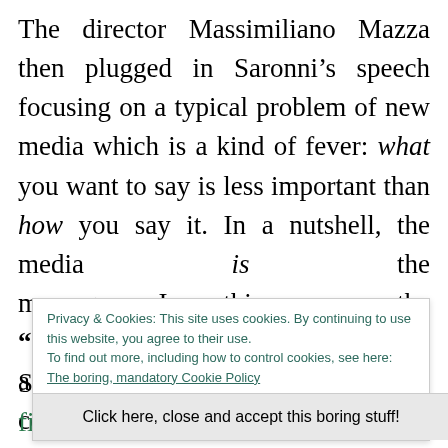The director Massimiliano Mazza then plugged in Saronni's speech focusing on a typical problem of new media which is a kind of fever: what you want to say is less important than how you say it. In a nutshell, the media is the message. In this way, the "grassroots" journalism is no longer a resource, but a malus. Then, a concerned appeal to care of the contents came as a foregone
Privacy & Cookies: This site uses cookies. By continuing to use this website, you agree to their use. To find out more, including how to control cookies, see here: The boring, mandatory Cookie Policy
Click here, close and accept this boring stuff!
Saturday at the Triennale. You will find my